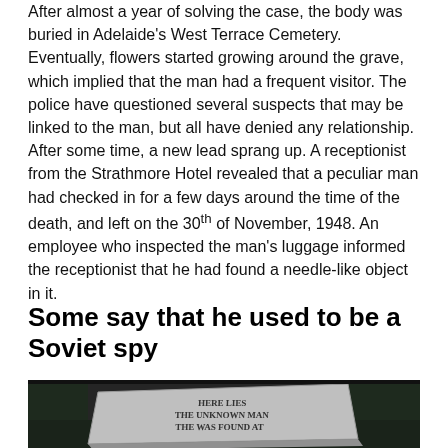After almost a year of solving the case, the body was buried in Adelaide's West Terrace Cemetery. Eventually, flowers started growing around the grave, which implied that the man had a frequent visitor. The police have questioned several suspects that may be linked to the man, but all have denied any relationship. After some time, a new lead sprang up. A receptionist from the Strathmore Hotel revealed that a peculiar man had checked in for a few days around the time of the death, and left on the 30th of November, 1948. An employee who inspected the man's luggage informed the receptionist that he had found a needle-like object in it.
Some say that he used to be a Soviet spy
[Figure (photo): Black and white photograph of a gravestone lying flat on the ground. The inscription reads: HERE LIES THE UNKNOWN MAN THE [WAS] FOUND AT [BEACH]]